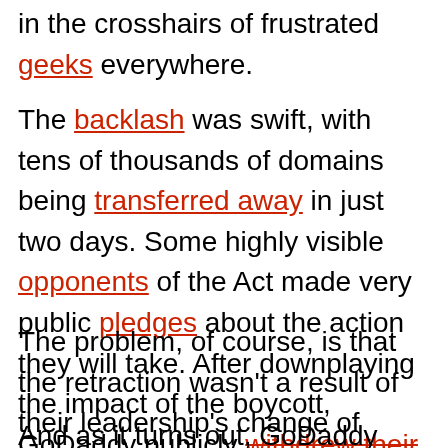in the crosshairs of frustrated geeks everywhere.
The backlash was swift, with tens of thousands of domains being transferred away in just two days. Some highly visible opponents of the Act made very public pledges about the action they will take. After downplaying the impact of the boycott, GoDaddy publicly withdrew their support for this astonishingly terrible piece of legislation.
The problem, of course, is that the retraction wasn't a result of their leadership's change of heart; it was a purely financial calculation.
And as it turns out, GoDaddy has not actually